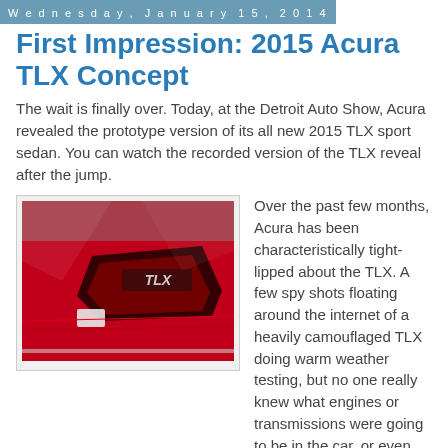Wednesday, January 15, 2014
First Impression: 2015 Acura TLX Concept
The wait is finally over. Today, at the Detroit Auto Show, Acura revealed the prototype version of its all new 2015 TLX sport sedan. You can watch the recorded version of the TLX reveal after the jump.
[Figure (photo): Rear closeup of red 2015 Acura TLX Concept showing TLX badge and tail light]
Over the past few months, Acura has been characteristically tight-lipped about the TLX. A few spy shots floating around the internet of a heavily camouflaged TLX doing warm weather testing, but no one really knew what engines or transmissions were going to be in the car, or even what the car could possibly look like, they were really secretive from the very start.